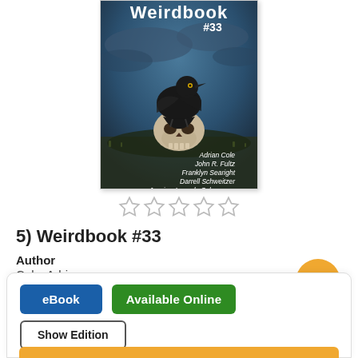[Figure (illustration): Book cover of Weirdbook #33 showing a raven perched on a skull against a dark stormy sky background. Authors listed: Adrian Cole, John R. Fultz, Franklyn Searight, Darrell Schweitzer, Jessica Amanda Salmonson]
[Figure (other): Five empty star rating icons]
5) Weirdbook #33
Author
Cole, Adrian
Series
Weirdbook
Language
English
eBook
Available Online
Show Edition